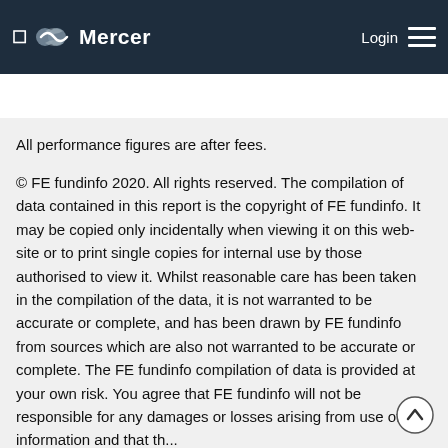Mercer | Login
All performance figures are after fees.
© FE fundinfo 2020. All rights reserved. The compilation of data contained in this report is the copyright of FE fundinfo. It may be copied only incidentally when viewing it on this web-site or to print single copies for internal use by those authorised to view it. Whilst reasonable care has been taken in the compilation of the data, it is not warranted to be accurate or complete, and has been drawn by FE fundinfo from sources which are also not warranted to be accurate or complete. The FE fundinfo compilation of data is provided at your own risk. You agree that FE fundinfo will not be responsible for any damages or losses arising from use of this information and that th...